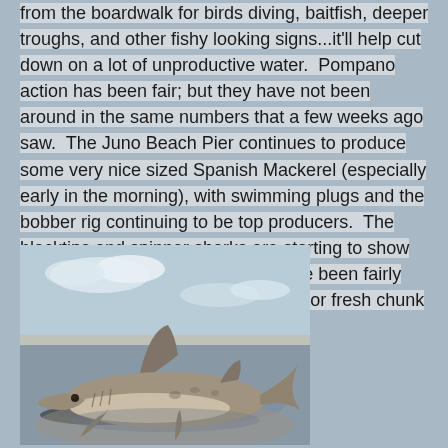from the boardwalk for birds diving, baitfish, deeper troughs, and other fishy looking signs...it'll help cut down on a lot of unproductive water.  Pompano action has been fair; but they have not been around in the same numbers that a few weeks ago saw.  The Juno Beach Pier continues to produce some very nice sized Spanish Mackerel (especially early in the morning), with swimming plugs and the bobber rig continuing to be top producers.  The blacktips and spinner sharks are starting to show with a little more regularity; and have been fairly willing to crush a loud topwater plug or fresh chunk of bait.
[Figure (photo): A shark (blacktip or spinner shark) lying on wet sand or shallow water at a beach, with its dorsal fin visible. The background shows a pale sky and shoreline.]